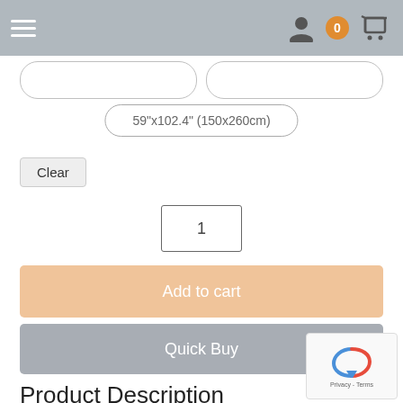Navigation bar with hamburger menu, user icon, cart badge (0), and shopping cart icon
[Figure (screenshot): Two partial rounded-rectangle size selector buttons, cut off at the top]
59"x102.4" (150x260cm)
Clear
1
Add to cart
Quick Buy
Product Description
Printed bamboo rug, with an graphic pattern in turquoise